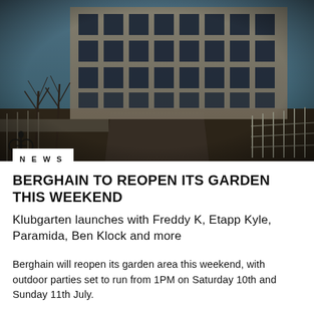[Figure (photo): Exterior photograph of Berghain nightclub in Berlin — a large brutalist industrial building with many windows, bare winter trees in front, a fenced pathway leading to the entrance, and a cloudy blue-grey sky. A cyclist is visible on the left side.]
NEWS
BERGHAIN TO REOPEN ITS GARDEN THIS WEEKEND
Klubgarten launches with Freddy K, Etapp Kyle, Paramida, Ben Klock and more
Berghain will reopen its garden area this weekend, with outdoor parties set to run from 1PM on Saturday 10th and Sunday 11th July.